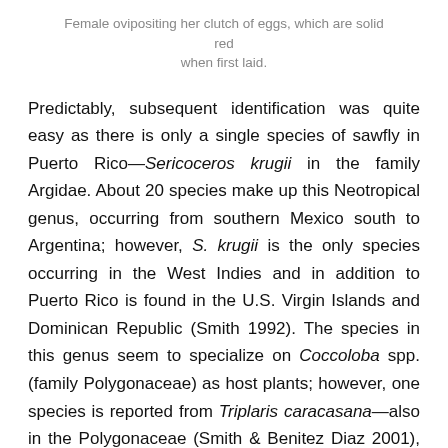Female ovipositing her clutch of eggs, which are solid red when first laid.
Predictably, subsequent identification was quite easy as there is only a single species of sawfly in Puerto Rico—Sericoceros krugii in the family Argidae. About 20 species make up this Neotropical genus, occurring from southern Mexico south to Argentina; however, S. krugii is the only species occurring in the West Indies and in addition to Puerto Rico is found in the U.S. Virgin Islands and Dominican Republic (Smith 1992). The species in this genus seem to specialize on Coccoloba spp. (family Polygonaceae) as host plants; however, one species is reported from Triplaris caracasana—also in the Polygonaceae (Smith & Benitez Diaz 2001), and another from Lonchocarpus minimiflorus in the family Fabaceae (Smith & Janzen 2002).